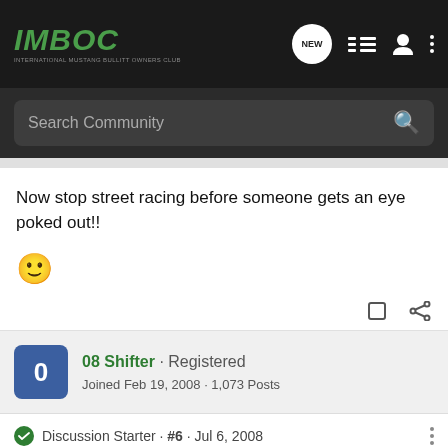IMBOC - INTERNATIONAL MUSTANG BULLITT OWNERS CLUB
Now stop street racing before someone gets an eye poked out!!
[Figure (illustration): Smiley face emoji (slightly smiling face)]
08 Shifter · Registered
Joined Feb 19, 2008 · 1,073 Posts
Discussion Starter · #6 · Jul 6, 2008
Yes Mom.:lol: